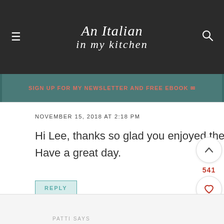An Italian in my kitchen
SIGN UP FOR MY NEWSLETTER AND FREE EBOOK
NOVEMBER 15, 2018 AT 2:18 PM
Hi Lee, thanks so glad you enjoyed them. Love the additions. Have a great day.
REPLY
541
PATTI SAYS